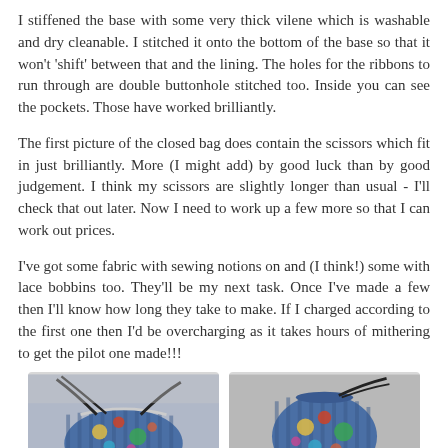I stiffened the base with some very thick vilene which is washable and dry cleanable. I stitched it onto the bottom of the base so that it won't 'shift' between that and the lining. The holes for the ribbons to run through are double buttonhole stitched too. Inside you can see the pockets. Those have worked brilliantly.
The first picture of the closed bag does contain the scissors which fit in just brilliantly. More (I might add) by good luck than by good judgement. I think my scissors are slightly longer than usual - I'll check that out later. Now I need to work up a few more so that I can work out prices.
I've got some fabric with sewing notions on and (I think!) some with lace bobbins too. They'll be my next task. Once I've made a few then I'll know how long they take to make. If I charged according to the first one then I'd be overcharging as it takes hours of mithering to get the pilot one made!!!
[Figure (photo): Photo of a colorful drawstring bag with tropical bird pattern fabric and black ribbons, photographed on a light background.]
[Figure (photo): Photo of the same colorful tropical bird pattern bag shown from a different angle, closed and sitting upright, with black drawstring ribbon visible.]